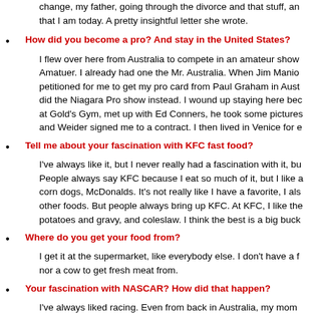change, my father, going through the divorce and that stuff, and that I am today. A pretty insightful letter she wrote.
How did you become a pro? And stay in the United States?
I flew over here from Australia to compete in an amateur show, Amatuer. I already had one the Mr. Australia. When Jim Manio petitioned for me to get my pro card from Paul Graham in Aust did the Niagara Pro show instead. I wound up staying here bec at Gold's Gym, met up with Ed Conners, he took some pictures and Weider signed me to a contract. I then lived in Venice for e
Tell me about your fascination with KFC fast food?
I've always like it, but I never really had a fascination with it, bu People always say KFC because I eat so much of it, but I like a corn dogs, McDonalds. It's not really like I have a favorite, I als other foods. But people always bring up KFC. At KFC, I like the potatoes and gravy, and coleslaw. I think the best is a big buck
Where do you get your food from?
I get it at the supermarket, like everybody else. I don't have a f nor a cow to get fresh meat from.
Your fascination with NASCAR? How did that happen?
I've always liked racing. Even from back in Australia, my mom of driving and racing. When I came out here, there is just a lot so I got into it that now. Lately, I've been into drag racing. I hav weekend after the Ironman, and most likely, I will be racing a d